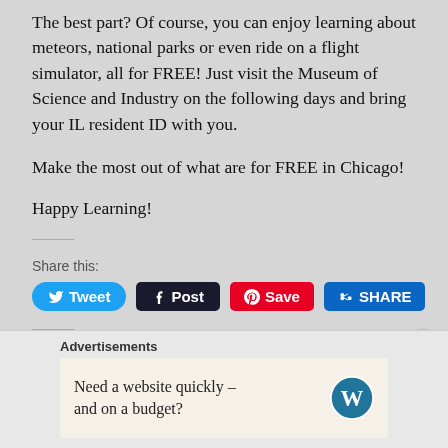The best part? Of course, you can enjoy learning about meteors, national parks or even ride on a flight simulator, all for FREE! Just visit the Museum of Science and Industry on the following days and bring your IL resident ID with you.
Make the most out of what are for FREE in Chicago!
Happy Learning!
[Figure (screenshot): Social share buttons: Tweet (Twitter/blue), Post (Tumblr/dark), Save (Pinterest/red), SHARE (LinkedIn/blue)]
[Figure (screenshot): Advertisement bar at bottom with WordPress logo and text 'Need a website quickly – and on a budget?']